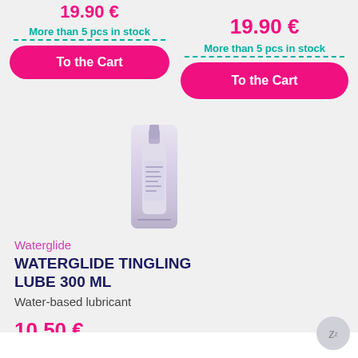19.90 €
More than 5 pcs in stock
To the Cart
19.90 €
More than 5 pcs in stock
To the Cart
[Figure (photo): Product photo: a tall white/purple spray bottle of Waterglide lubricant]
Waterglide
WATERGLIDE TINGLING LUBE 300 ML
Water-based lubricant
10.50 €
More than 5 pcs in stock
To the Cart